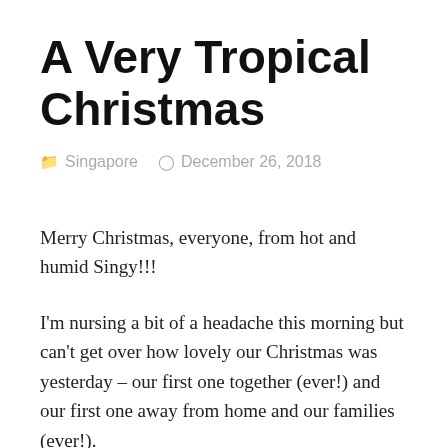A Very Tropical Christmas
Singapore   December 26, 2018
Merry Christmas, everyone, from hot and humid Singy!!!
I'm nursing a bit of a headache this morning but can't get over how lovely our Christmas was yesterday – our first one together (ever!) and our first one away from home and our families (ever!).
We woke up Christmas morning to our beautiful little fake tree that we got off of Amazon with presents